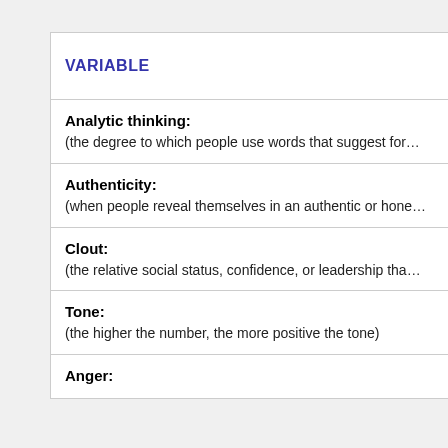| VARIABLE |
| --- |
| Analytic thinking:
(the degree to which people use words that suggest for… |
| Authenticity:
(when people reveal themselves in an authentic or hone… |
| Clout:
(the relative social status, confidence, or leadership tha… |
| Tone:
(the higher the number, the more positive the tone) |
| Anger: |